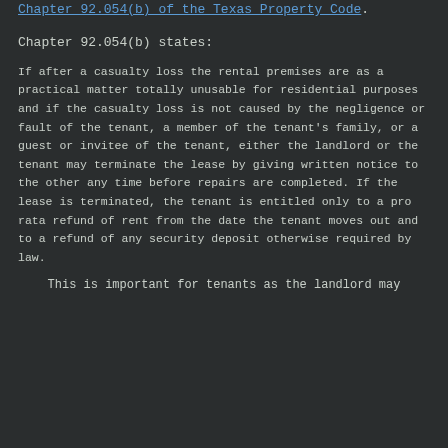Chapter 92.054(b) of the Texas Property Code.
Chapter 92.054(b) states:
If after a casualty loss the rental premises are as a practical matter totally unusable for residential purposes and if the casualty loss is not caused by the negligence or fault of the tenant, a member of the tenant's family, or a guest or invitee of the tenant, either the landlord or the tenant may terminate the lease by giving written notice to the other any time before repairs are completed. If the lease is terminated, the tenant is entitled only to a pro rata refund of rent from the date the tenant moves out and to a refund of any security deposit otherwise required by law.
This is important for tenants as the landlord may